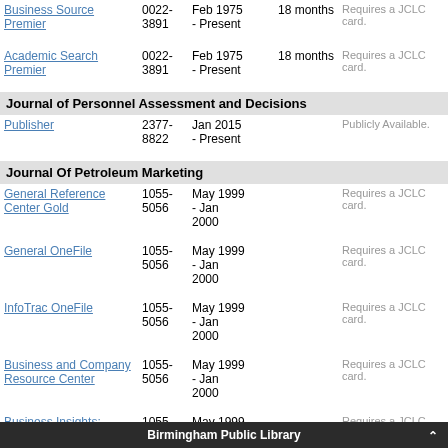| Source | ISSN | Date Range | Embargo | Notes |
| --- | --- | --- | --- | --- |
| Business Source Premier | 0022-3891 | Feb 1975 - Present | 18 months | Requires a JCLC card. |
| Academic Search Premier | 0022-3891 | Feb 1975 - Present | 18 months | Requires a JCLC card. |
Journal of Personnel Assessment and Decisions
| Source | ISSN | Date Range | Embargo | Notes |
| --- | --- | --- | --- | --- |
| Publisher | 2377-8822 | Jan 2015 - Present |  | Publicly Available. |
Journal Of Petroleum Marketing
| Source | ISSN | Date Range | Embargo | Notes |
| --- | --- | --- | --- | --- |
| General Reference Center Gold | 1055-5056 | May 1999 - Jan 2000 |  | Requires a JCLC card. |
| General OneFile | 1055-5056 | May 1999 - Jan 2000 |  | Requires a JCLC card. |
| InfoTrac OneFile | 1055-5056 | May 1999 - Jan 2000 |  | Requires a JCLC card. |
| Business and Company Resource Center | 1055-5056 | May 1999 - Jan 2000 |  | Requires a JCLC card. |
| Business Insights: Essentials | 1055-5056 | May 1999 - Jan 2000 |  | Requires a JCLC card. |
Journal of Phenomenological Psychology
Birmingham Public Library